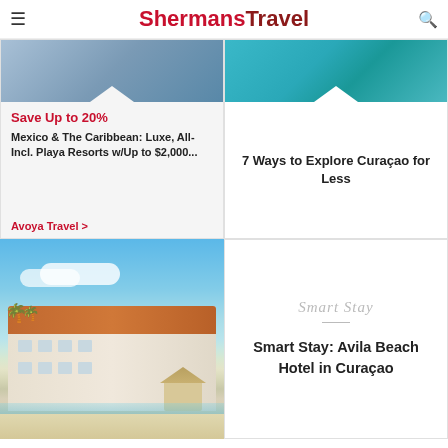ShermansTravel
Save Up to 20%
Mexico & The Caribbean: Luxe, All-Incl. Playa Resorts w/Up to $2,000...
Avoya Travel >
[Figure (photo): Tropical beach with turquoise water, top portion of card]
7 Ways to Explore Curaçao for Less
[Figure (photo): Beach hotel with orange rooftops, palm trees, white sand and turquoise water — Avila Beach Hotel in Curaçao]
Smart Stay
Smart Stay: Avila Beach Hotel in Curaçao